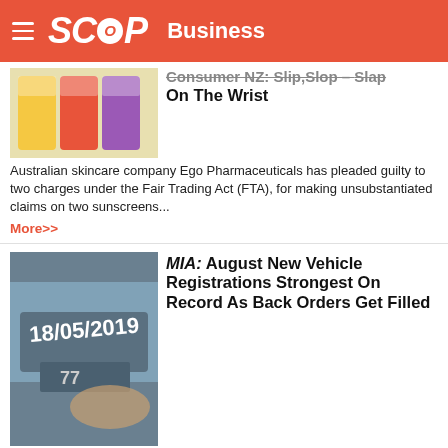SCOOP Business
Consumer NZ: Slip,Slop – Slap On The Wrist
Australian skincare company Ego Pharmaceuticals has pleaded guilty to two charges under the Fair Trading Act (FTA), for making unsubstantiated claims on two sunscreens...
More>>
MIA: August New Vehicle Registrations Strongest On Record As Back Orders Get Filled
The Motor Industry Association's David Crawford says that 14,690 registrations of new vehicles for the month of August is the strongest month of August on record, largely due to shipments arriving allowing back orders to be filled...
More>>
NIWA: NZ's Warmest And Wettest Winter On Record